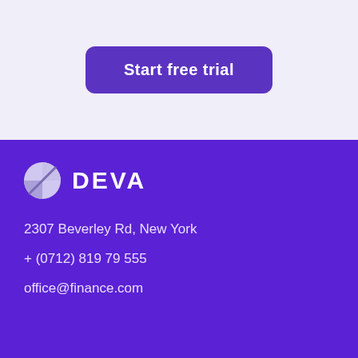Start free trial
[Figure (logo): DEVA company logo with circular icon and bold text]
2307 Beverley Rd, New York
+ (0712) 819 79 555
office@finance.com